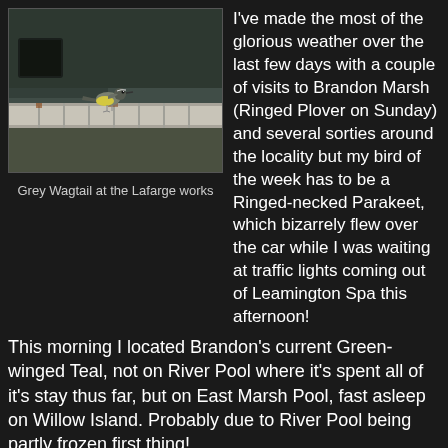[Figure (photo): A Grey Wagtail bird perched on a white metal railing or barrier at what appears to be an industrial site (the Lafarge works). The background is dark grey/brown.]
Grey Wagtail at the Lafarge works
I've made the most of the glorious weather over the last few days with a couple of visits to Brandon Marsh (Ringed Plover on Sunday) and several sorties around the locality but my bird of the week has to be a Ringed-necked Parakeet, which bizarrely flew over the car while I was waiting at traffic lights coming out of Leamington Spa this afternoon!
This morning I located Brandon's current Green-winged Teal, not on River Pool where it's spent all of it's stay thus far, but on East Marsh Pool, fast asleep on Willow Island. Probably due to River Pool being partly frozen first thing!
Despite the glorious weather not too much on offer the rest